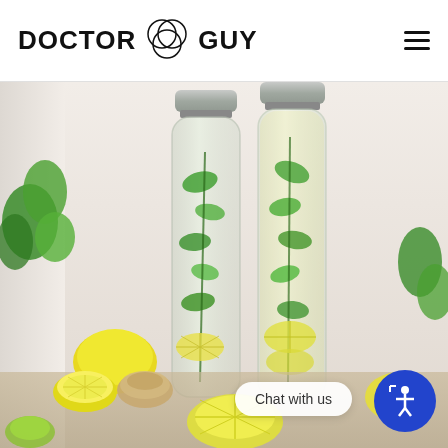[Figure (logo): Doctor Guy logo with three overlapping circles icon between 'DOCTOR' and 'GUY' text in bold black]
[Figure (photo): Two glass bottles filled with water, lemon slices, and fresh mint leaves, surrounded by lemons, limes, and herbs on a wooden surface with a light pink background]
Chat with us